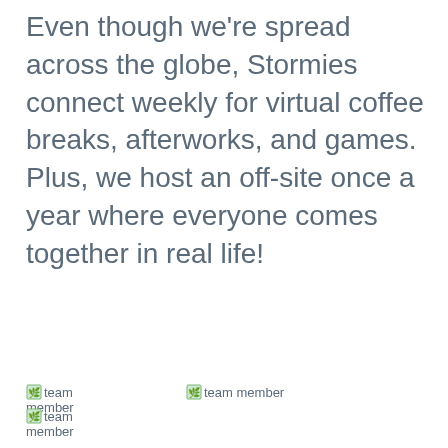Even though we're spread across the globe, Stormies connect weekly for virtual coffee breaks, afterworks, and games. Plus, we host an off-site once a year where everyone comes together in real life!
[Figure (photo): Broken image placeholder labeled 'team member' (top-left)]
[Figure (photo): Broken image placeholder labeled 'team member' (top-right)]
[Figure (photo): Broken image placeholder labeled 'team member' (bottom-left)]